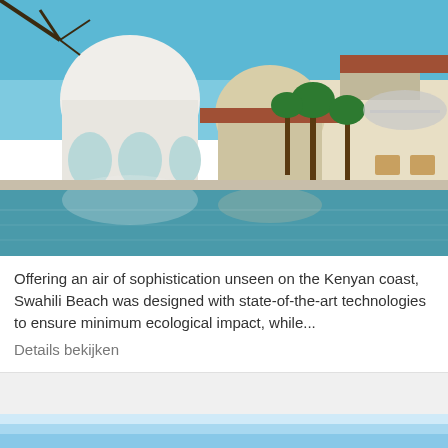[Figure (photo): A luxury resort with white domed architecture and terracotta roofs reflected in a large swimming pool, surrounded by palm trees under a blue sky — Swahili Beach on the Kenyan coast.]
Offering an air of sophistication unseen on the Kenyan coast, Swahili Beach was designed with state-of-the-art technologies to ensure minimum ecological impact, while...
Details bekijken
[Figure (photo): Partial view of a second card with a blue sky/ocean scene at the bottom of the page.]